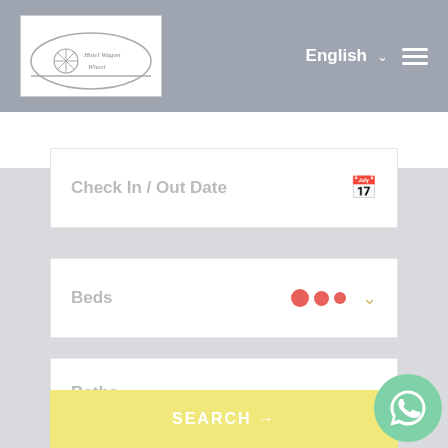[Figure (logo): Hotel Wagon Wheel logo - oval shaped with wagon wheel graphic and cursive text]
English ▾ ≡
Check In / Out Date
Beds
Baths
SEARCH →